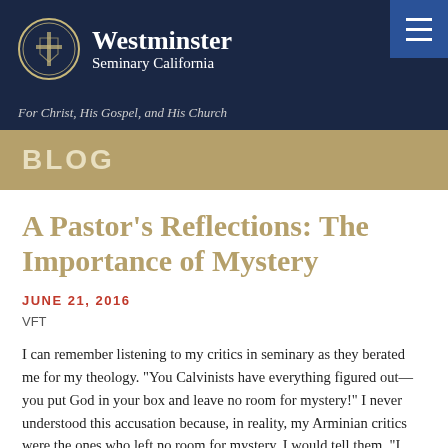[Figure (logo): Westminster Seminary California logo with circular seal and text]
For Christ, His Gospel, and His Church
BLOG
A Pastor’s Reflections: The Importance of Mystery
JUNE 21, 2016
VFT
I can remember listening to my critics in seminary as they berated me for my theology. “You Calvinists have everything figured out—you put God in your box and leave no room for mystery!” I never understood this accusation because, in reality, my Arminian critics were the ones who left no room for mystery. I would tell them, “I affirm divine sovereignty and human responsibility—I don’t know how they work together, but the Bible clearly affirms both.” I had in